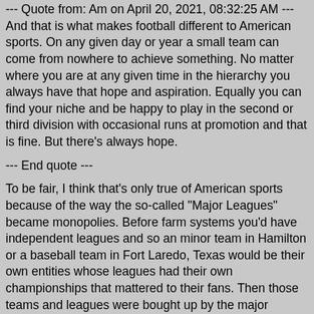--- Quote from: Am on April 20, 2021, 08:32:25 AM ---And that is what makes football different to American sports. On any given day or year a small team can come from nowhere to achieve something. No matter where you are at any given time in the hierarchy you always have that hope and aspiration. Equally you can find your niche and be happy to play in the second or third division with occasional runs at promotion and that is fine. But there's always hope.
--- End quote ---
To be fair, I think that's only true of American sports because of the way the so-called "Major Leagues" became monopolies. Before farm systems you'd have independent leagues and so an minor team in Hamilton or a baseball team in Fort Laredo, Texas would be their own entities whose leagues had their own championships that mattered to their fans. Then those teams and leagues were bought up by the major leagues who wanted to convince everyone their leagues were the only ones that mattered and smaller leagues should just feed into bigger ones, their best players being "promoted" no matter what sort of championship situation they were in.
But you're right, there is something about how the European soccer system says there's as much reason to be a fan of Ipswich Town as there is Manchester United. That means if a team like Watford...